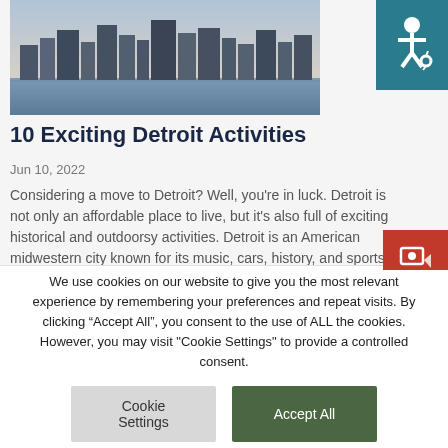[Figure (photo): Aerial/waterfront city skyline photo of Detroit]
10 Exciting Detroit Activities
Jun 10, 2022
Considering a move to Detroit? Well, you're in luck. Detroit is not only an affordable place to live, but it's also full of exciting historical and outdoorsy activities. Detroit is an American midwestern city known for its music, cars, history, and sports. As the largest city in
We use cookies on our website to give you the most relevant experience by remembering your preferences and repeat visits. By clicking “Accept All”, you consent to the use of ALL the cookies. However, you may visit "Cookie Settings" to provide a controlled consent.